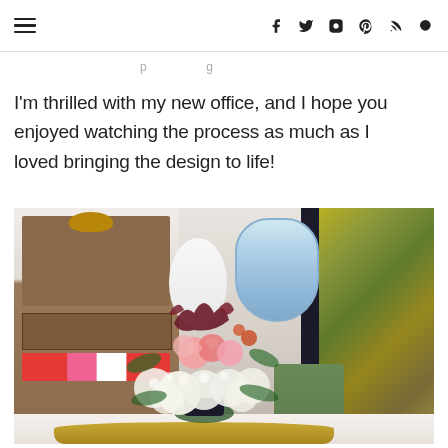☰  f  t  ⊙  ⊕  RSS  🔍
I'm thrilled with my new office, and I hope you enjoyed watching the process as much as I loved bringing the design to life!
[Figure (photo): Interior photo of a home office showing a floral arrangement with white hydrangeas, pink carnations, and burgundy flowers on a gold tray on a marble table surface. Behind the flowers is a blue and white ceramic ginger jar vase. In the background is a wooden bookshelf with books and a decorative bowl, a white round vase, and botanical-print wallpaper or artwork on the right side. A green chair is partially visible.]